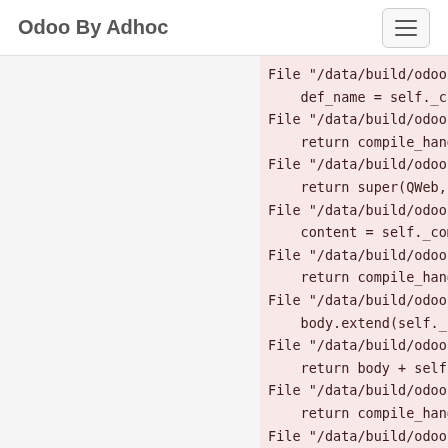Odoo By Adhoc
File "/data/build/odoo..."
    def_name = self._cre
File "/data/build/odoo..."
    return compile_handl
File "/data/build/odoo..."
    return super(QWeb, s
File "/data/build/odoo..."
    content = self._comp
File "/data/build/odoo..."
    return compile_handl
File "/data/build/odoo..."
    body.extend(self._co
File "/data/build/odoo..."
    return body + self._
File "/data/build/odoo..."
    return compile_handl
File "/data/build/odoo..."
    body=self._compile_d
File "/data/build/odoo..."
    return compile_handl
File "/data/build/odoo..."
    return super(QWeb,